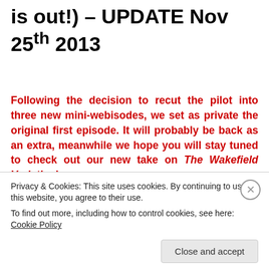is out!) – UPDATE Nov 25th 2013
Following the decision to recut the pilot into three new mini-webisodes, we set as private the original first episode. It will probably be back as an extra, meanwhile we hope you will stay tuned to check out our new take on The Wakefield Variation!
Dopo la decisione di rimontare l'episodio pilota in 3 mini-episodi, abbiamo impostato come privato il
Privacy & Cookies: This site uses cookies. By continuing to use this website, you agree to their use.
To find out more, including how to control cookies, see here: Cookie Policy